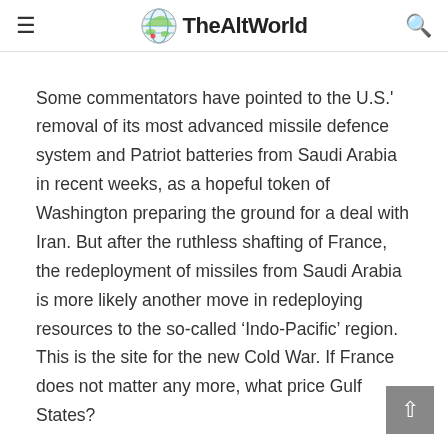TheAltWorld
Some commentators have pointed to the U.S.' removal of its most advanced missile defence system and Patriot batteries from Saudi Arabia in recent weeks, as a hopeful token of Washington preparing the ground for a deal with Iran. But after the ruthless shafting of France, the redeployment of missiles from Saudi Arabia is more likely another move in redeploying resources to the so-called ‘Indo-Pacific’ region. This is the site for the new Cold War. If France does not matter any more, what price Gulf States?